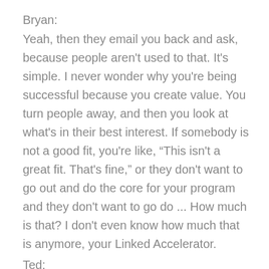Bryan:
Yeah, then they email you back and ask, because people aren't used to that. It's simple. I never wonder why you're being successful because you create value. You turn people away, and then you look at what's in their best interest. If somebody is not a good fit, you're like, “This isn't a great fit. That's fine,” or they don't want to go out and do the core for your program and they don't want to go do ... How much is that? I don't even know how much that is anymore, your Linked Accelerator.
Ted:
You get the replays for $297.